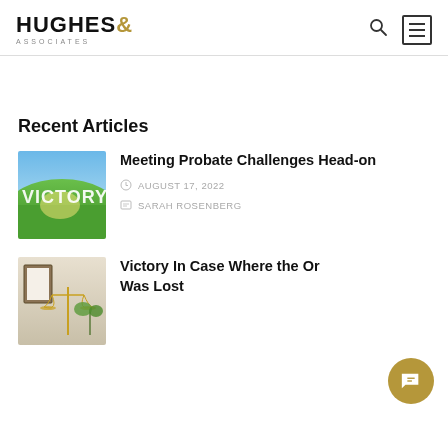HUGHES & ASSOCIATES
Recent Articles
[Figure (photo): Outdoor photo with the word VICTORY displayed in large letters on a grassy hill with blue sky]
Meeting Probate Challenges Head-on
AUGUST 17, 2022
SARAH ROSENBERG
[Figure (photo): Indoor photo showing a golden balance scale and a framed document on a wall with a plant]
Victory In Case Where the Or Was Lost